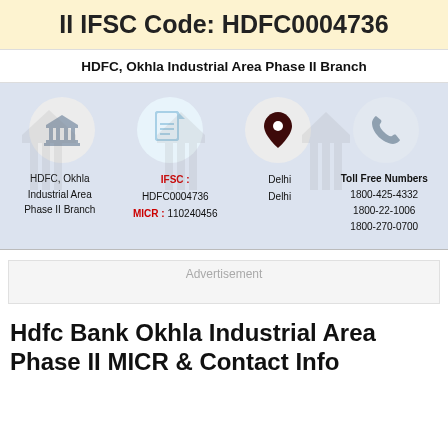II IFSC Code: HDFC0004736
HDFC, Okhla Industrial Area Phase II Branch
[Figure (infographic): Four icons in circles: bank building, document, location pin, telephone. Below each icon are details: branch name, IFSC/MICR, city, toll-free numbers.]
HDFC, Okhla Industrial Area Phase II Branch
IFSC : HDFC0004736
MICR : 110240456
Delhi
Delhi
Toll Free Numbers
1800-425-4332
1800-22-1006
1800-270-0700
Advertisement
Hdfc Bank Okhla Industrial Area Phase II MICR & Contact Info